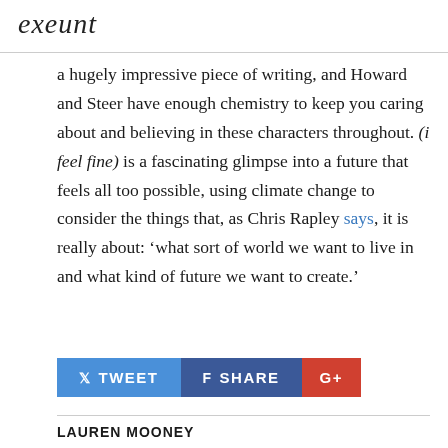exeunt
a hugely impressive piece of writing, and Howard and Steer have enough chemistry to keep you caring about and believing in these characters throughout. (i feel fine) is a fascinating glimpse into a future that feels all too possible, using climate change to consider the things that, as Chris Rapley says, it is really about: ‘what sort of world we want to live in and what kind of future we want to create.’
TWEET  SHARE  G+
LAUREN MOONEY